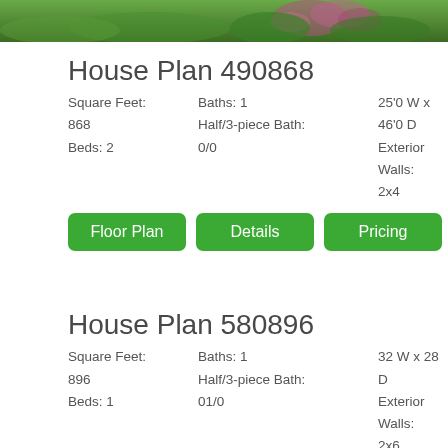[Figure (photo): Partial view of a house exterior with green lawn and pink flowering shrubs/plants along the garden]
House Plan 490868
Square Feet:
868
Beds: 2
Baths: 1
Half/3-piece Bath:
0/0
25'0 W x 46'0 D
Exterior Walls:
2x4
Floor Plan   Details   Pricing
House Plan 580896
Square Feet:
896
Beds: 1
Baths: 1
Half/3-piece Bath:
01/0
32 W x 28 D
Exterior Walls:
2x6